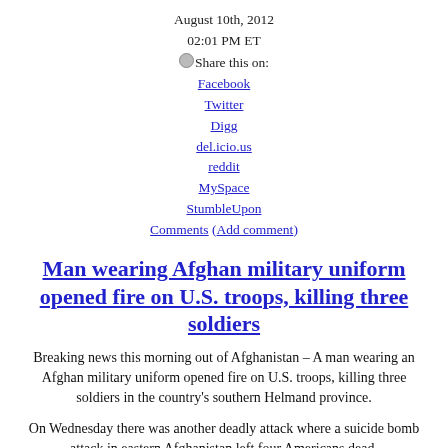August 10th, 2012
02:01 PM ET
Share this on:
Facebook
Twitter
Digg
del.icio.us
reddit
MySpace
StumbleUpon
Comments (Add comment)
Man wearing Afghan military uniform opened fire on U.S. troops, killing three soldiers
Breaking news this morning out of Afghanistan – A man wearing an Afghan military uniform opened fire on U.S. troops, killing three soldiers in the country's southern Helmand province.
On Wednesday there was another deadly attack where a suicide bomb attack in eastern Afghanistan left four Americans dead,